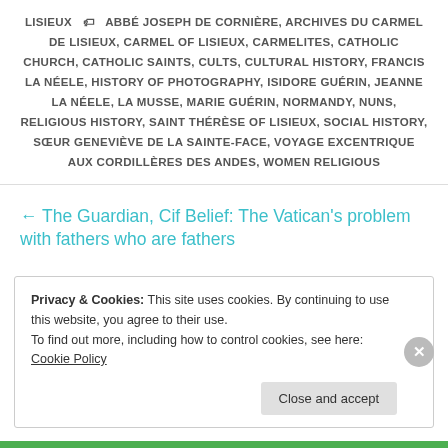LISIEUX  🏷  ABBÉ JOSEPH DE CORNIÈRE, ARCHIVES DU CARMEL DE LISIEUX, CARMEL OF LISIEUX, CARMELITES, CATHOLIC CHURCH, CATHOLIC SAINTS, CULTS, CULTURAL HISTORY, FRANCIS LA NÉELE, HISTORY OF PHOTOGRAPHY, ISIDORE GUÉRIN, JEANNE LA NÉELE, LA MUSSE, MARIE GUÉRIN, NORMANDY, NUNS, RELIGIOUS HISTORY, SAINT THÉRÈSE OF LISIEUX, SOCIAL HISTORY, SŒUR GENEVIÈVE DE LA SAINTE-FACE, VOYAGE EXCENTRIQUE AUX CORDILLÈRES DES ANDES, WOMEN RELIGIOUS
← The Guardian, Cif Belief: The Vatican's problem with fathers who are fathers
Privacy & Cookies: This site uses cookies. By continuing to use this website, you agree to their use.
To find out more, including how to control cookies, see here: Cookie Policy